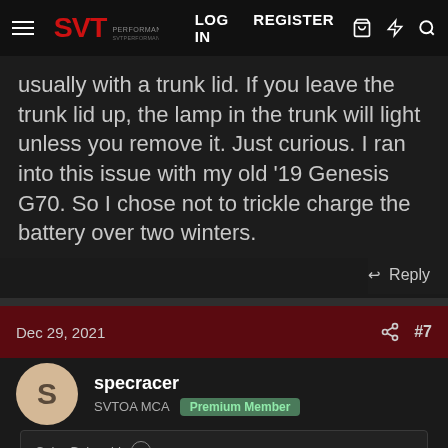SVT Performance Forum - LOG IN  REGISTER
usually with a trunk lid. If you leave the trunk lid up, the lamp in the trunk will light unless you remove it. Just curious. I ran into this issue with my old '19 Genesis G70. So I chose not to trickle charge the battery over two winters.
↩ Reply
Dec 29, 2021  #7
specracer  SVTOA MCA  Premium Member
CobraBob said: ↑  Regarding battery trickle/maintainers, what do you do when the